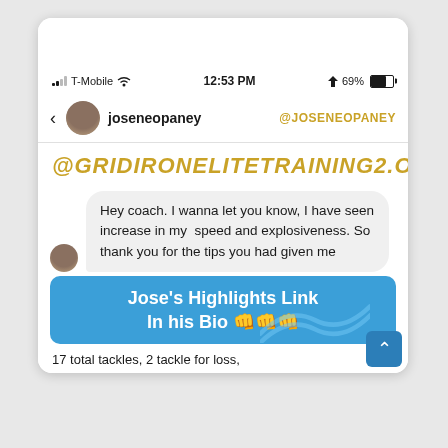[Figure (screenshot): Instagram DM screenshot on iPhone showing conversation with joseneopaney. Status bar shows T-Mobile, 12:53 PM, 69% battery. Header shows username joseneopaney and @JOSENEOPANEY handle. Large orange italic text reads @GRIDIRONELITETRAINING2.0. A message bubble reads: Hey coach. I wanna let you know, I have seen increase in my speed and explosiveness. So thank you for the tips you had given me. A blue banner reads: Jose's Highlights Link In his Bio 👊👊👊. Bottom text reads: 17 total tackles, 2 tackle for loss,]